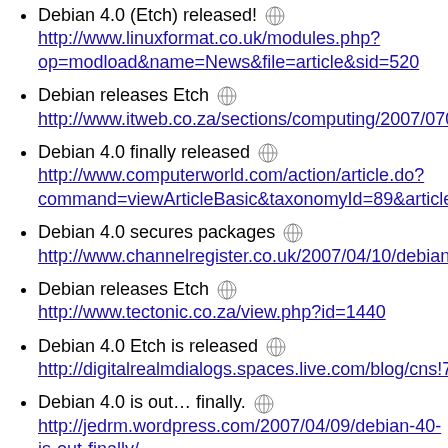Debian 4.0 (Etch) released! http://www.linuxformat.co.uk/modules.php?op=modload&name=News&file=article&sid=520
Debian releases Etch http://www.itweb.co.za/sections/computing/2007/070-
Debian 4.0 finally released http://www.computerworld.com/action/article.do?command=viewArticleBasic&taxonomyId=89&articleI
Debian 4.0 secures packages http://www.channelregister.co.uk/2007/04/10/debian_
Debian releases Etch http://www.tectonic.co.za/view.php?id=1440
Debian 4.0 Etch is released http://digitalrealmdialogs.spaces.live.com/blog/cns!70
Debian 4.0 is out... finally. http://jedrm.wordpress.com/2007/04/09/debian-40-is-out-finally/
Novo Debian finalmente vê a luz do dia